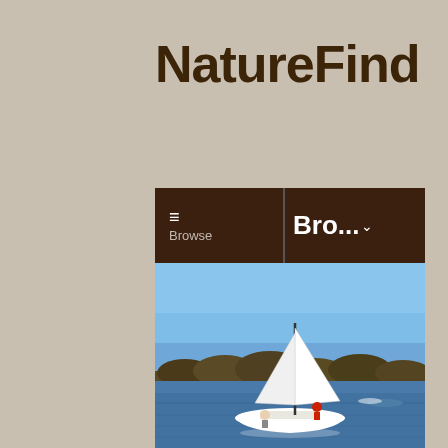NatureFind
[Figure (screenshot): Mobile website screenshot showing a navigation bar with hamburger menu icon and 'Bro...' text on a dark brown header, and below it a photograph of a sailboat on a lake with people aboard, blue sky and tree line in the background. A 'back to top' button with an upward chevron is visible in the bottom right.]